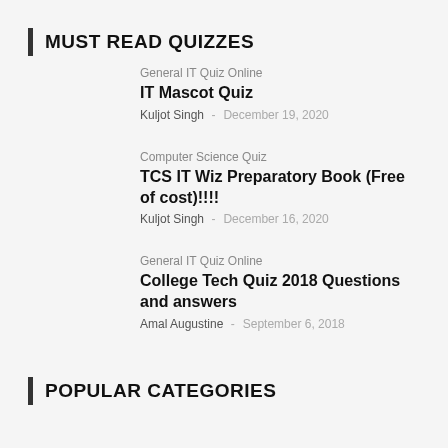MUST READ QUIZZES
General IT Quiz Online | IT Mascot Quiz | Kuljot Singh - December 19, 2020
Computer Science Quiz | TCS IT Wiz Preparatory Book (Free of cost)!!!! | Kuljot Singh - December 16, 2020
General IT Quiz Online | College Tech Quiz 2018 Questions and answers | Amal Augustine - September 6, 2018
POPULAR CATEGORIES